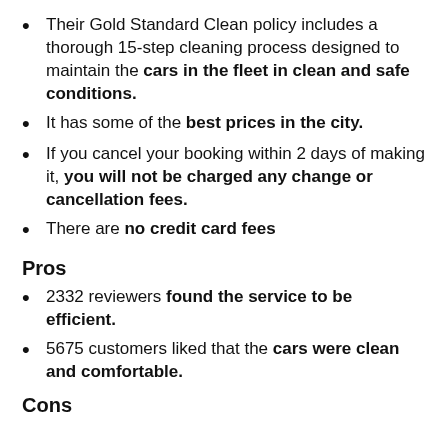Their Gold Standard Clean policy includes a thorough 15-step cleaning process designed to maintain the cars in the fleet in clean and safe conditions.
It has some of the best prices in the city.
If you cancel your booking within 2 days of making it, you will not be charged any change or cancellation fees.
There are no credit card fees
Pros
2332 reviewers found the service to be efficient.
5675 customers liked that the cars were clean and comfortable.
Cons